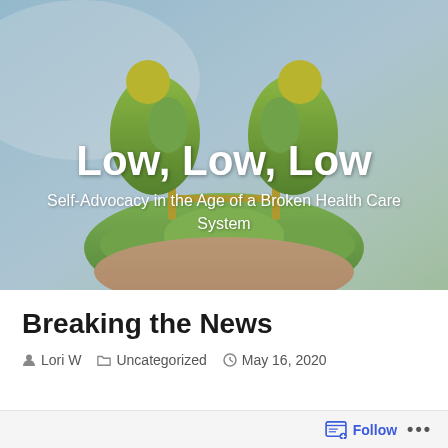[Figure (illustration): Hero banner image showing a hand holding green kidney-shaped plant sculptures against a blue sky background, with blog title overlay.]
Breaking the News
Lori W   Uncategorized   May 16, 2020